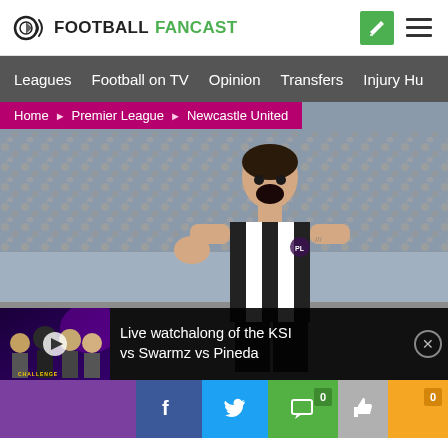FOOTBALLFANCAST
Leagues  Football on TV  Opinion  Transfers  Injury Hub
Home > Premier League > Newcastle United
[Figure (photo): Newcastle United footballer celebrating, wearing black-and-white striped jersey, crowded stadium in background]
Live watchalong of the KSI vs Swarmz vs Pineda
[Figure (photo): Video thumbnail showing people sitting at a table with purple neon background, play button overlay]
f  Twitter  comment 0  thumbs-up 0